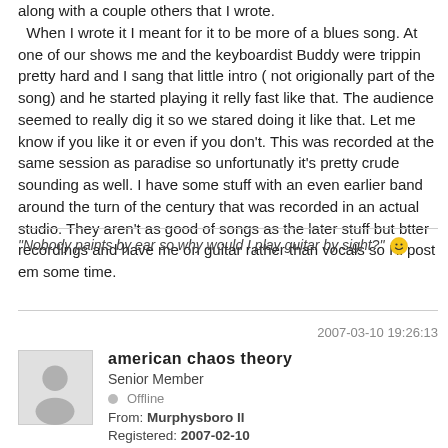along with a couple others that I wrote. When I wrote it I meant for it to be more of a blues song. At one of our shows me and the keyboardist Buddy were trippin pretty hard and I sang that little intro ( not origionally part of the song) and he started playing it relly fast like that. The audience seemed to really dig it so we stared doing it like that. Let me know if you like it or even if you don't. This was recorded at the same session as paradise so unfortunatly it's pretty crude sounding as well. I have some stuff with an even earlier band around the turn of the century that was recorded in an actual studio. They aren't as good of songs as the later stuff but btter recordings and have me on guitar rather than vocals so I'll post em some time.
"Nobody paints by ear so why would I play guitar by sight?"
2007-03-10 19:26:13
american chaos theory
Senior Member
Offline
From: Murphysboro Il
Registered: 2007-02-10
Posts: 292